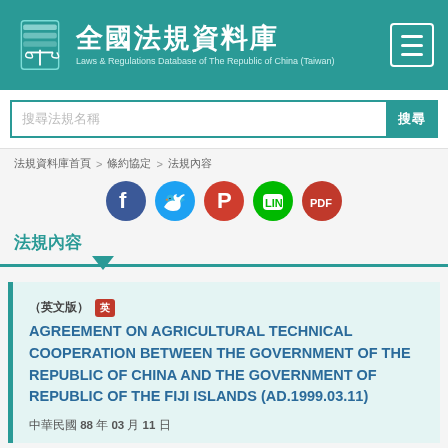全國法規資料庫 Laws & Regulations Database of The Republic of China (Taiwan)
搜尋法規名稱
搜尋
法規資料庫首頁 > 條約協定 > 法規內容
法規內容
（英文版） AGREEMENT ON AGRICULTURAL TECHNICAL COOPERATION BETWEEN THE GOVERNMENT OF THE REPUBLIC OF CHINA AND THE GOVERNMENT OF REPUBLIC OF THE FIJI ISLANDS (AD.1999.03.11)
中華民國 88 年 03 月 11 日